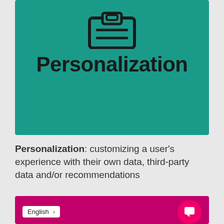[Figure (illustration): Teal/green card with a clipboard icon at the top and the word 'Personalization' in large bold black text below it]
Personalization: customizing a user's experience with their own data, third-party data and/or recommendations
[Figure (screenshot): Bottom portion of a magenta/pink card showing an Amazon Alexa chat interface with an English language selector badge and a pink circular chat bubble icon]